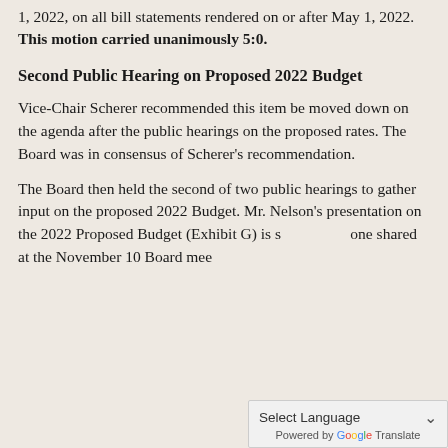1, 2022, on all bill statements rendered on or after May 1, 2022. This motion carried unanimously 5:0.
Second Public Hearing on Proposed 2022 Budget
Vice-Chair Scherer recommended this item be moved down on the agenda after the public hearings on the proposed rates. The Board was in consensus of Scherer's recommendation.
The Board then held the second of two public hearings to gather input on the proposed 2022 Budget. Mr. Nelson's presentation on the 2022 Proposed Budget (Exhibit G) is s... one shared at the November 10 Board meeting